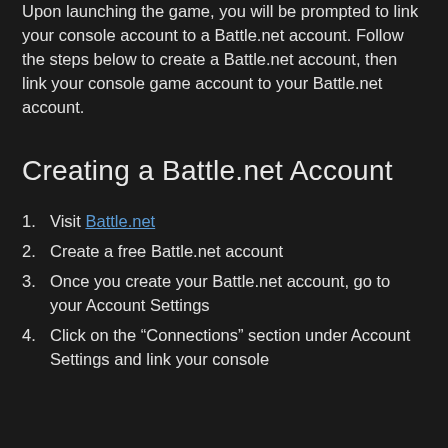Upon launching the game, you will be prompted to link your console account to a Battle.net account. Follow the steps below to create a Battle.net account, then link your console game account to your Battle.net account.
Creating a Battle.net Account
Visit Battle.net
Create a free Battle.net account
Once you create your Battle.net account, go to your Account Settings
Click on the “Connections” section under Account Settings and link your console